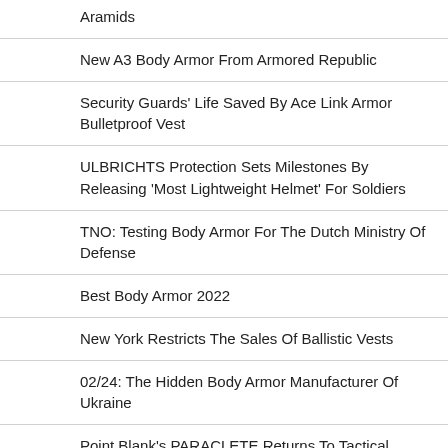Aramids
New A3 Body Armor From Armored Republic
Security Guards' Life Saved By Ace Link Armor Bulletproof Vest
ULBRICHTS Protection Sets Milestones By Releasing 'Most Lightweight Helmet' For Soldiers
TNO: Testing Body Armor For The Dutch Ministry Of Defense
Best Body Armor 2022
New York Restricts The Sales Of Ballistic Vests
02/24: The Hidden Body Armor Manufacturer Of Ukraine
Point Blank's PARACLETE Returns To Tactical Roots With Origin System
Slovenian Textile Manufacturer Equips Over Eighty American…